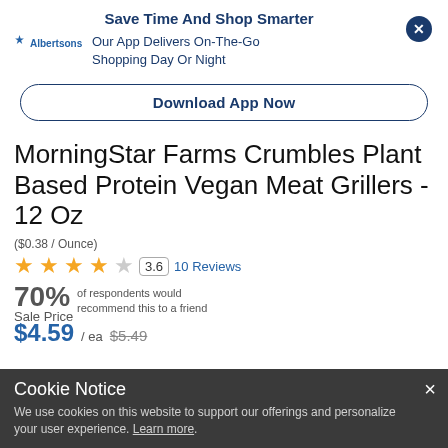Save Time And Shop Smarter
Our App Delivers On-The-Go Shopping Day Or Night
Download App Now
MorningStar Farms Crumbles Plant Based Protein Vegan Meat Grillers - 12 Oz
($0.38 / Ounce)
3.6  10 Reviews
70% of respondents would recommend this to a friend
Sale Price  $4.59 / ea  $5.49
Cookie Notice
We use cookies on this website to support our offerings and personalize your user experience. Learn more.